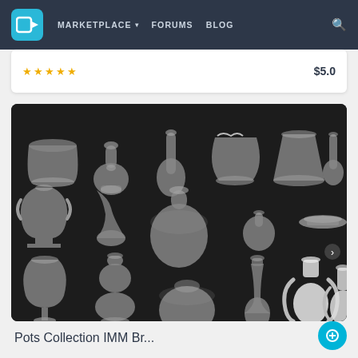MARKETPLACE  FORUMS  BLOG
★★★★★  $5.0
[Figure (photo): A 3D rendering showing a collection of 21 grey pots, vases, jugs, and pottery items arranged on a dark background. Text overlay reads: POTS COLLECTION IMM BRUSH PACK (21 in One)]
Pots Collection IMM Br...